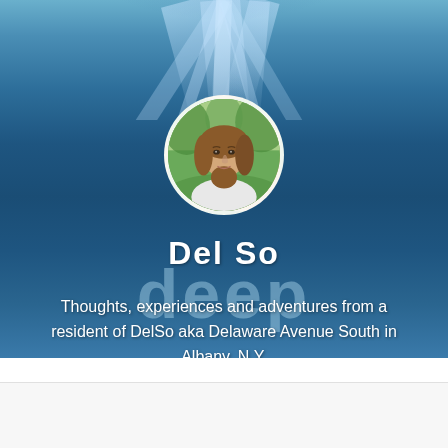[Figure (illustration): Underwater ocean background with blue gradient and rays of light from surface, with a circular profile photo of a woman with brown hair and a green outdoor background, a 'DelSo' title in white bold text, a large semi-transparent 'deep' watermark text, and descriptive subtitle text]
DelSo
Thoughts, experiences and adventures from a resident of DelSo aka Delaware Avenue South in Albany, N.Y.
Follow ...